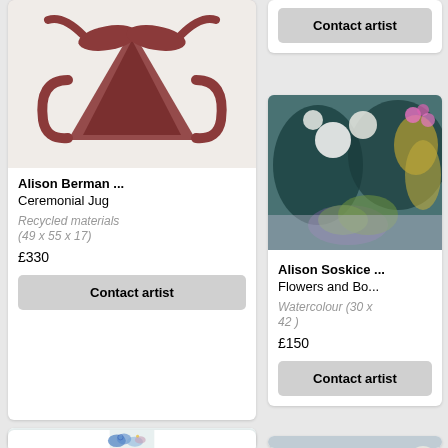[Figure (photo): Ceramic ceremonial jug in dark red/maroon color on white background]
Alison Berman ... Ceremonial Jug
Recycled materials (49 x 55 x 17)
£330
Contact artist
Contact artist
[Figure (photo): Watercolour painting of flowers and botanical subjects in teal, pink, yellow and white]
Alison Soskice ... Flowers and Bo...
Watercolour (30 x 42 )
£150
Contact artist
[Figure (photo): Abstract artwork with blue floral shapes and colourful flowers on cream background]
[Figure (photo): Painting or photo of blue and grey pebbles/stones]